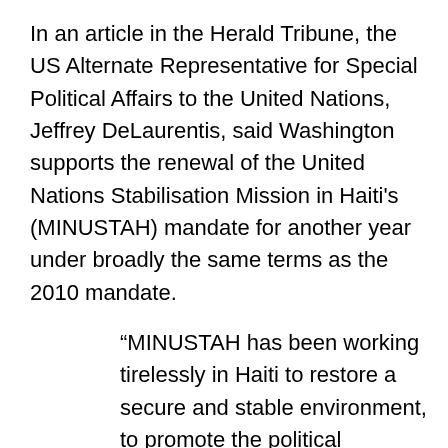In an article in the Herald Tribune, the US Alternate Representative for Special Political Affairs to the United Nations, Jeffrey DeLaurentis, said Washington supports the renewal of the United Nations Stabilisation Mission in Haiti's (MINUSTAH) mandate for another year under broadly the same terms as the 2010 mandate.
“MINUSTAH has been working tirelessly in Haiti to restore a secure and stable environment, to promote the political process, and to strengthen Haiti’s Government institutions and rule-of-law-structures, as well as to promote and to protect human rights.
“MINUSTAH has provided vital security and logistical support during presidential and legislative elections, supported programs